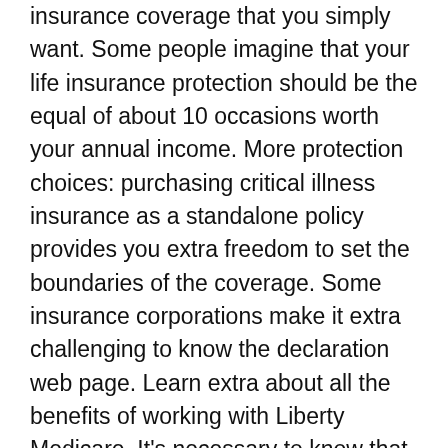insurance coverage that you simply want. Some people imagine that your life insurance protection should be the equal of about 10 occasions worth your annual income. More protection choices: purchasing critical illness insurance as a standalone policy provides you extra freedom to set the boundaries of the coverage. Some insurance corporations make it extra challenging to know the declaration web page. Learn extra about all the benefits of working with Liberty Medicare. It's necessary to know that hospital indemnity insurance benefits are separate. The Certificate only gives advantages for sickness or damage. The types of illnesses covered embody cancer and heart illness however these policies may even payout for severe physical injury also, such a paralysis or